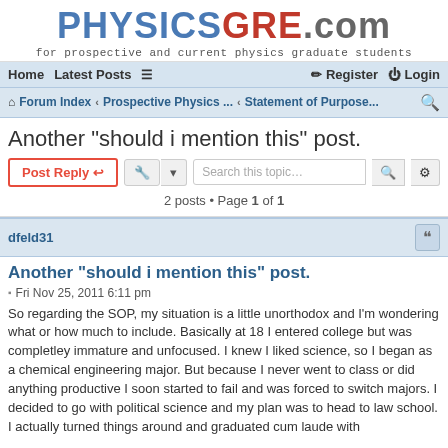PHYSICSGRE.com - for prospective and current physics graduate students
Home  Latest Posts  ☰  Register  Login
Forum Index › Prospective Physics ... › Statement of Purpose...
Another "should i mention this" post.
Post Reply   [tools]   Search this topic...   2 posts • Page 1 of 1
dfeld31
Another "should i mention this" post.
Fri Nov 25, 2011 6:11 pm
So regarding the SOP, my situation is a little unorthodox and I'm wondering what or how much to include. Basically at 18 I entered college but was completley immature and unfocused. I knew I liked science, so I began as a chemical engineering major. But because I never went to class or did anything productive I soon started to fail and was forced to switch majors. I decided to go with political science and my plan was to head to law school. I actually turned things around and graduated cum laude with